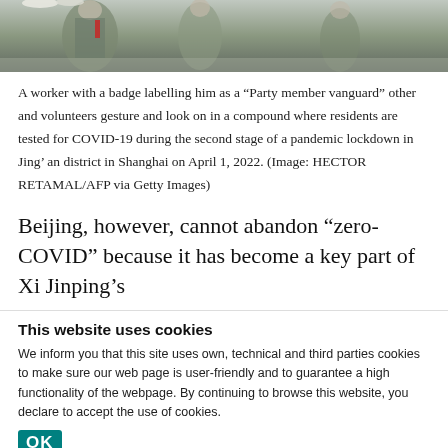[Figure (photo): A photo strip showing a worker with a badge and other volunteers in a compound, partially visible at the top of the page.]
A worker with a badge labelling him as a “Party member vanguard” other and volunteers gesture and look on in a compound where residents are tested for COVID-19 during the second stage of a pandemic lockdown in Jing’ an district in Shanghai on April 1, 2022. (Image: HECTOR RETAMAL/AFP via Getty Images)
Beijing, however, cannot abandon “zero-COVID” because it has become a key part of Xi Jinping’s
This website uses cookies
We inform you that this site uses own, technical and third parties cookies to make sure our web page is user-friendly and to guarantee a high functionality of the webpage. By continuing to browse this website, you declare to accept the use of cookies.
OK